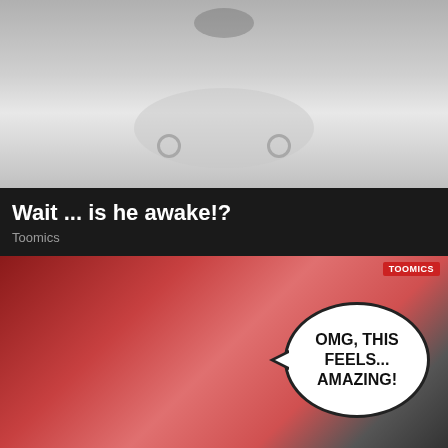[Figure (illustration): Manga/anime style illustration showing a close-up of a character's midsection in light colored clothing, top portion of a two-panel layout]
Wait ... is he awake!?
Toomics
[Figure (illustration): Manga/anime style illustration of a red-haired female character with a speech bubble saying 'OMG, THIS FEELS... AMAZING!' with a Toomics watermark, and a dark-haired male character below]